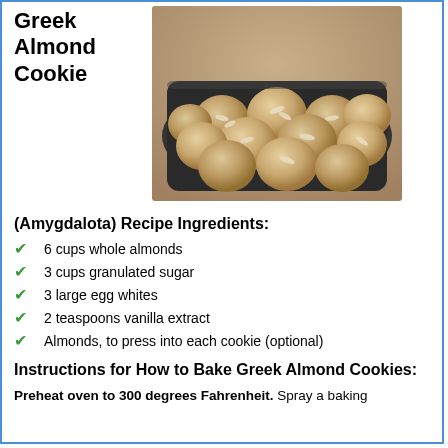Greek Almond Cookie
[Figure (photo): Photo of Greek almond cookies (amygdalota) piled on a dark rectangular plate/tray, showing round cookies topped with sliced almonds]
(Amygdalota) Recipe Ingredients:
6 cups whole almonds
3 cups granulated sugar
3 large egg whites
2 teaspoons vanilla extract
Almonds, to press into each cookie (optional)
Instructions for How to Bake Greek Almond Cookies:
Preheat oven to 300 degrees Fahrenheit. Spray a baking sheet with non-stick cooking spray or line with parchment paper.